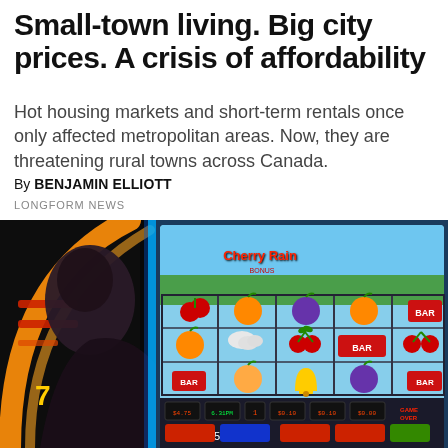Small-town living. Big city prices. A crisis of affordability
Hot housing markets and short-term rentals once only affected metropolitan areas. Now, they are threatening rural towns across Canada.
By BENJAMIN ELLIOTT
LONGFORM NEWS
[Figure (photo): A person silhouetted in dark light looking at a slot machine displaying Cherry Rain game with colorful fruit symbols (cherries, oranges, plums) and BAR symbols. The slot machine screen is brightly lit against a dark casino background.]